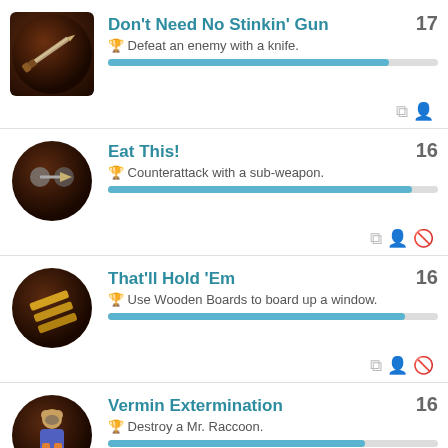Don't Need No Stinkin' Gun | 17 | Defeat an enemy with a knife.
Eat This! | 16 | Counterattack with a sub-weapon.
That'll Hold 'Em | 16 | Use Wooden Boards to board up a window.
Vermin Extermination | 16 | Destroy a Mr. Raccoon.